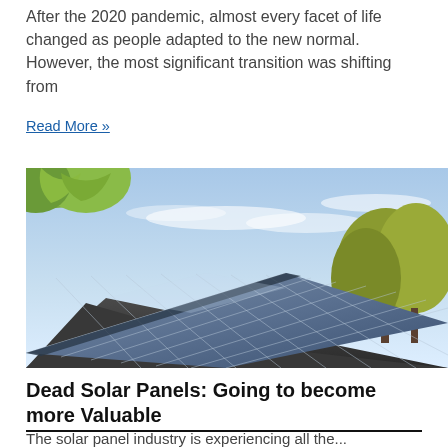After the 2020 pandemic, almost every facet of life changed as people adapted to the new normal. However, the most significant transition was shifting from
Read More »
[Figure (photo): Photograph of solar panels installed on a rooftop, with trees and a blue sky with light clouds visible in the background.]
Dead Solar Panels: Going to become more Valuable
The solar panel industry is experiencing all the...